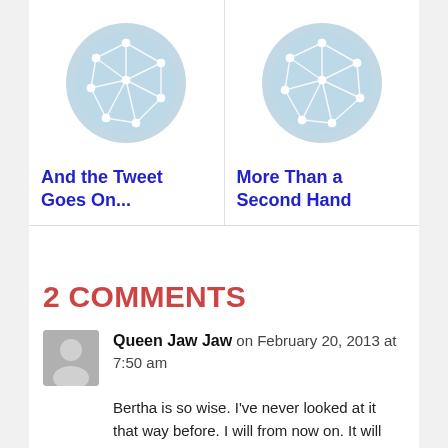[Figure (illustration): Two card thumbnails side by side, each showing a circular teal/light-blue icon with a white network graph inside. Left card titled 'And the Tweet Goes On...' Right card titled 'More Than a Second Hand']
2 COMMENTS
Queen Jaw Jaw on February 20, 2013 at 7:50 am
Bertha is so wise. I've never looked at it that way before. I will from now on. It will make it easier to either pass something